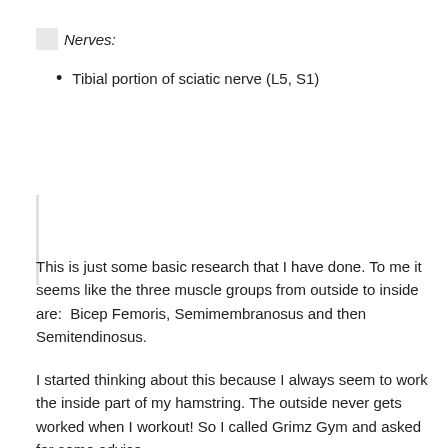Nerves:
Tibial portion of sciatic nerve (L5, S1)
This is just some basic research that I have done. To me it seems like the three muscle groups from outside to inside are:  Bicep Femoris, Semimembranosus and then Semitendinosus.
I started thinking about this because I always seem to work the inside part of my hamstring. The outside never gets worked when I workout! So I called Grimz Gym and asked for some advice.